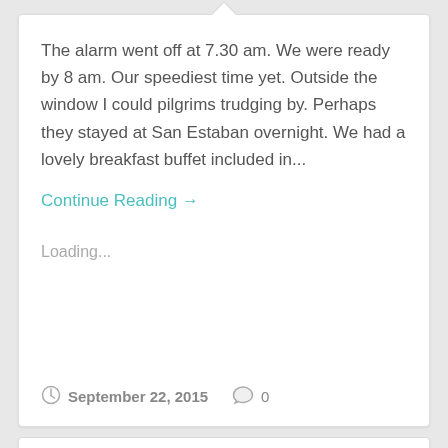The alarm went off at 7.30 am. We were ready by 8 am. Our speediest time yet. Outside the window I could pilgrims trudging by. Perhaps they stayed at San Estaban overnight. We had a lovely breakfast buffet included in...
Continue Reading →
Loading...
September 22, 2015   0
Camino del Norte – Day 5 –